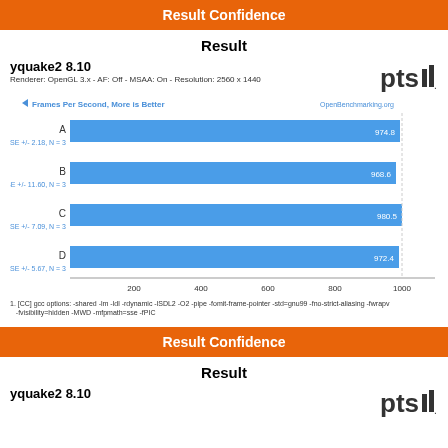Result Confidence
Result
yquake2 8.10
Renderer: OpenGL 3.x - AF: Off - MSAA: On - Resolution: 2560 x 1440
[Figure (bar-chart): Frames Per Second, More is Better]
1. [CC] gcc options: -shared -lm -ldl -rdynamic -lSDL2 -O2 -pipe -fomit-frame-pointer -std=gnu99 -fno-strict-aliasing -fwrapv -fvisibility=hidden -MWD -mfpmath=sse -fPIC
Result Confidence
Result
yquake2 8.10